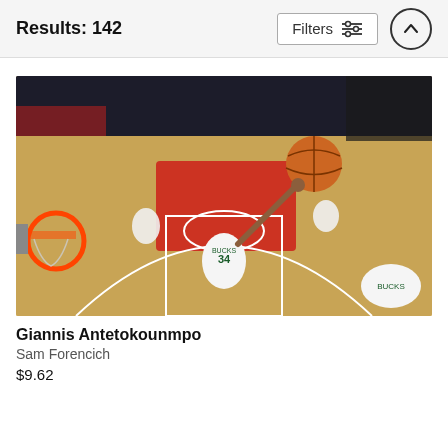Results: 142
[Figure (photo): Overhead view of an NBA basketball game: Giannis Antetokounmpo (#34, Milwaukee Bucks) reaching up to dunk or tip the ball near the basket on the Portland Trail Blazers home court, with other players visible around him.]
Giannis Antetokounmpo
Sam Forencich
$9.62